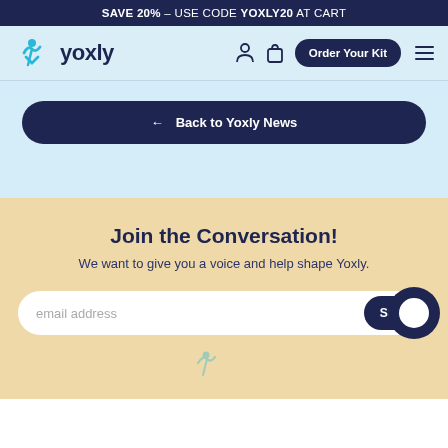SAVE 20% – USE CODE YOXLY20 AT CART
[Figure (logo): Yoxly logo with teal figure icon and dark navy wordmark 'yoxly', plus navigation icons and Order Your Kit button]
← Back to Yoxly News
Join the Conversation!
We want to give you a voice and help shape Yoxly.
email address  Subs